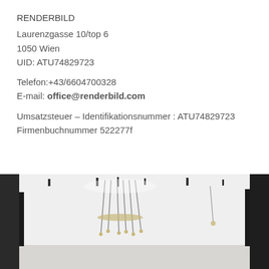RENDERBILD
Laurenzgasse 10/top 6
1050 Wien
UID: ATU74829723

Telefon:+43/6604700328
E-mail: office@renderbild.com

Umsatzsteuer – Identifikationsnummer :  ATU74829723
Firmenbuchnummer 522277f
[Figure (photo): Interior architectural photo showing a modern room with a white ceiling, recessed lighting, and a chandelier-style pendant light fixture. Dark framed windows or walls visible on the sides.]